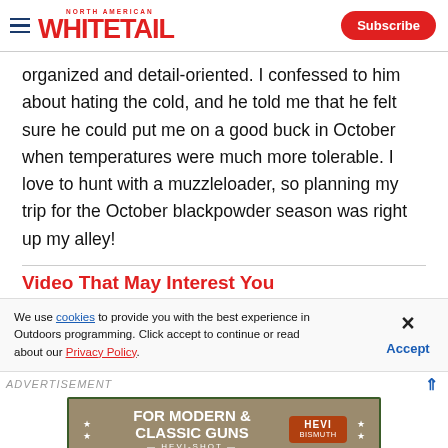North American Whitetail — Subscribe
organized and detail-oriented. I confessed to him about hating the cold, and he told me that he felt sure he could put me on a good buck in October when temperatures were much more tolerable. I love to hunt with a muzzleloader, so planning my trip for the October blackpowder season was right up my alley!
Video That May Interest You
We use cookies to provide you with the best experience in Outdoors programming. Click accept to continue or read about our Privacy Policy.
Advertisement
[Figure (other): Advertisement banner for Hevi-Shot: FOR MODERN & CLASSIC GUNS HEVI-SHOT HEVI BISMUTH]